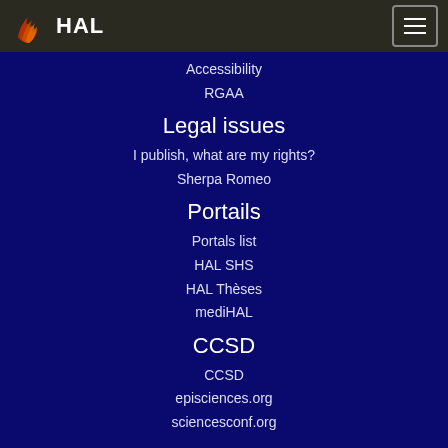HAL
Accessibility
RGAA
Legal issues
I publish, what are my rights?
Sherpa Romeo
Portails
Portals list
HAL SHS
HAL Thèses
mediHAL
CCSD
CCSD
episciences.org
sciencesconf.org